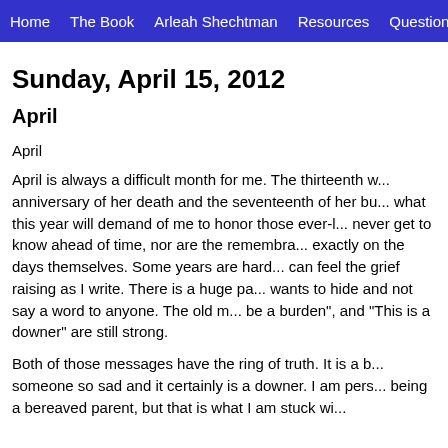Home  The Book  Arleah Shechtman  Resources  Questions a...
Sunday, April 15, 2012
April
April
April is always a difficult month for me. The thirteenth w... anniversary of her death and the seventeenth of her bu... what this year will demand of me to honor those ever-l... never get to know ahead of time, nor are the remembra... exactly on the days themselves.  Some years are hard... can feel the grief raising as I write.  There is a huge pa... wants to hide and not say a word to anyone.  The old m... be a burden", and “This is a downer” are still strong.
Both of those messages have the ring of truth.  It is a b... someone so sad and it certainly is a downer.  I am pers... being a bereaved parent, but that is what I am stuck wi...